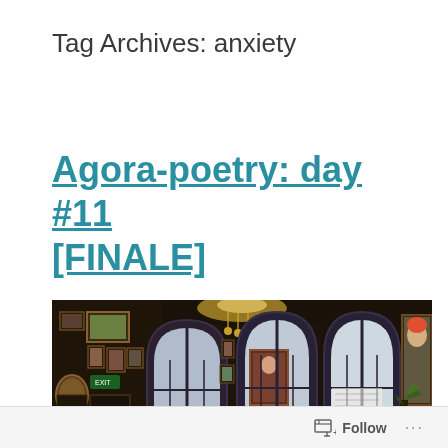Tag Archives: anxiety
Agora-poetry: day #11 [FINALE]
[Figure (photo): Interior of a grand gallery hall with dark wood-paneled walls covered in framed paintings and portraits. Two tall Gothic arched windows let in bright light. A chandelier hangs from the ceiling. A portrait of a man in a turban is visible on the right wall.]
Follow ...